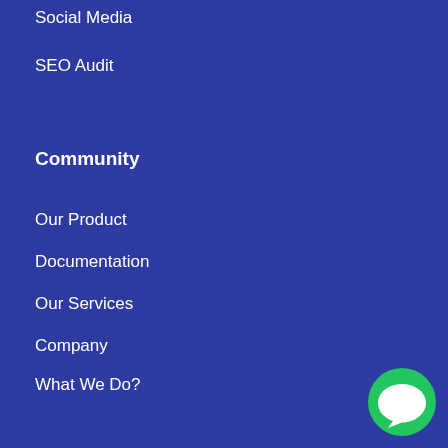Social Media
SEO Audit
Community
Our Product
Documentation
Our Services
Company
What We Do?
Quick Links
About Us
Main Services
[Figure (illustration): Green circular chat bubble icon in the bottom right corner]